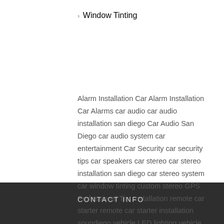Window Tinting
Alarm Installation Car Alarm Installation Car Alarms car audio car audio installation san diego Car Audio San Diego car audio system car entertainment Car Security car security tips car speakers car stereo car stereo installation san diego car stereo system car window tinting custom stereo GPS Professional Tint Installation remote car starter remote car starter installation soundiego vehicle LED lighting vehicle safety Vehicle Upgrades Window Tinting
CONTACT INFO